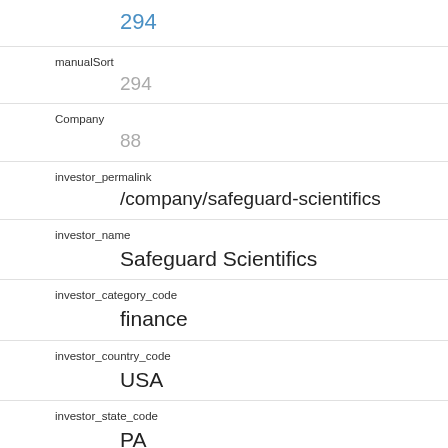294
manualSort
294
Company
88
investor_permalink
/company/safeguard-scientifics
investor_name
Safeguard Scientifics
investor_category_code
finance
investor_country_code
USA
investor_state_code
PA
investor_region
Philadelphia
investor_city
Wayne
funding_round_type